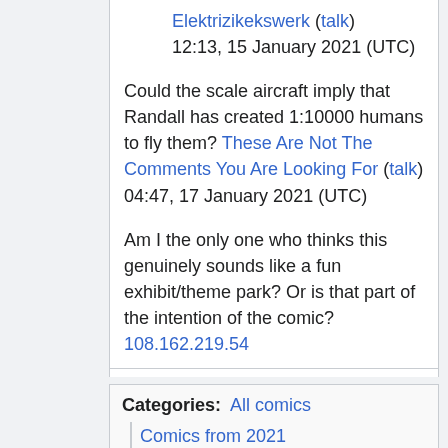Elektrizikekswerk (talk) 12:13, 15 January 2021 (UTC)
Could the scale aircraft imply that Randall has created 1:10000 humans to fly them? These Are Not The Comments You Are Looking For (talk) 04:47, 17 January 2021 (UTC)
Am I the only one who thinks this genuinely sounds like a fun exhibit/theme park? Or is that part of the intention of the comic? 108.162.219.54
Categories: All comics | Comics from 2021 | Comics from January